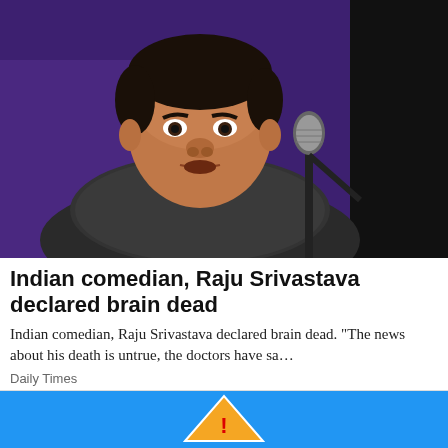[Figure (photo): Indian comedian Raju Srivastava speaking into a microphone on stage, wearing a patterned shirt, against a purple/dark background]
Indian comedian, Raju Srivastava declared brain dead
Indian comedian, Raju Srivastava declared brain dead. “The news about his death is untrue, the doctors have sa…
Daily Times
[Figure (photo): Partial view of a second news article with a blue background and a warning/road sign visible]